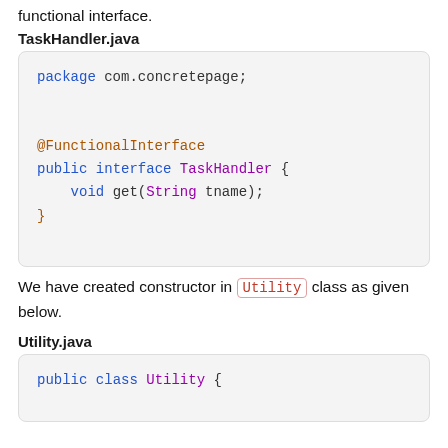functional interface.
TaskHandler.java
[Figure (screenshot): Code block showing Java interface: package com.concretepage; @FunctionalInterface public interface TaskHandler { void get(String tname); }]
We have created constructor in Utility class as given below.
Utility.java
[Figure (screenshot): Code block beginning: public class Utility {]